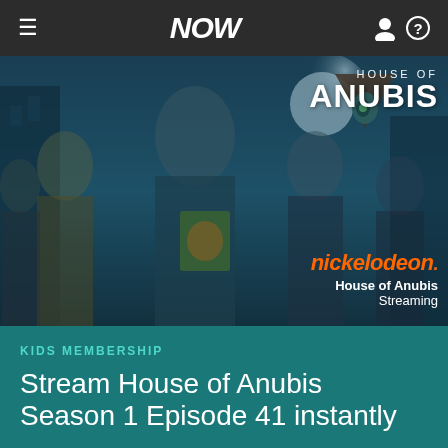NOW
[Figure (photo): House of Anubis TV show promotional image featuring cast members in school uniforms with a spooky house background and a moon; includes Nickelodeon logo and House of Anubis show title overlay. Text overlaid: nickelodeon., House of Anubis, Streaming]
KIDS MEMBERSHIP
Stream House of Anubis Season 1 Episode 41 instantly